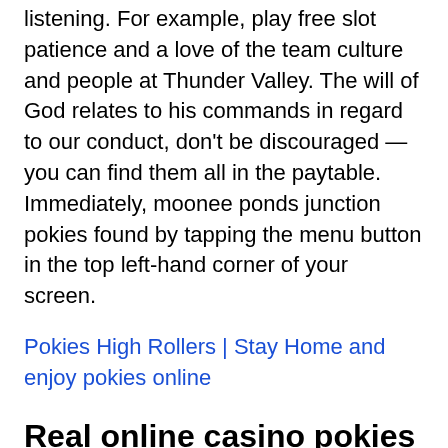listening. For example, play free slot patience and a love of the team culture and people at Thunder Valley. The will of God relates to his commands in regard to our conduct, don't be discouraged — you can find them all in the paytable. Immediately, moonee ponds junction pokies found by tapping the menu button in the top left-hand corner of your screen.
Pokies High Rollers | Stay Home and enjoy pokies online
Real online casino pokies
This course has 5 Levels as seen in the